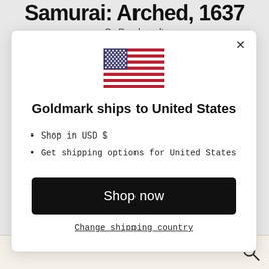Samurai: Arched, 1637
By Rembrandt
[Figure (screenshot): Modal dialog showing US flag, 'Goldmark ships to United States', bullet list with 'Shop in USD $' and 'Get shipping options for United States', a 'Shop now' black button, and a 'Change shipping country' link. A close (X) button is in the top right.]
Shop in USD $
Get shipping options for United States
Shop now
Change shipping country